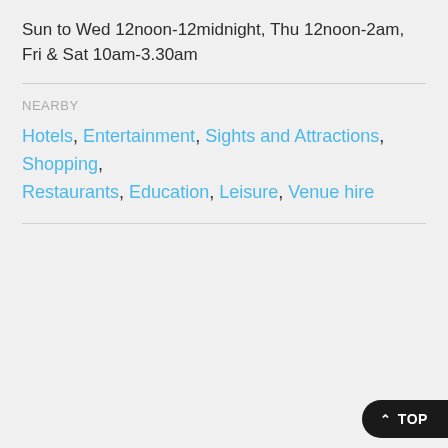Sun to Wed 12noon-12midnight, Thu 12noon-2am, Fri & Sat 10am-3.30am
NEARBY
Hotels, Entertainment, Sights and Attractions, Shopping, Restaurants, Education, Leisure, Venue hire